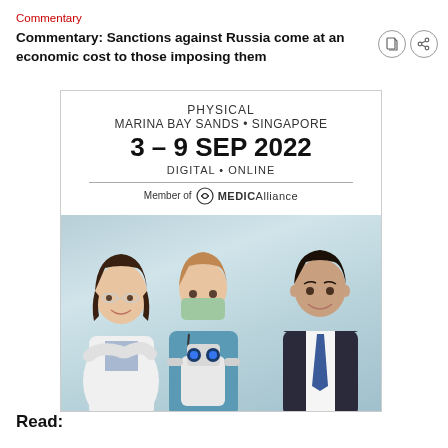Commentary
Commentary: Sanctions against Russia come at an economic cost to those imposing them
[Figure (advertisement): Medical technology event advertisement. Text reads: PHYSICAL / MARINA BAY SANDS • SINGAPORE / 3 – 9 SEP 2022 / DIGITAL • ONLINE / Member of MEDICAlliance. Below the text is a photo showing two healthcare professionals (a female doctor in white coat with safety glasses, a nurse in blue scrubs with mask and stethoscope) flanking a small white robot with glowing blue eyes, and a male professional in a dark suit on the right.]
Read: